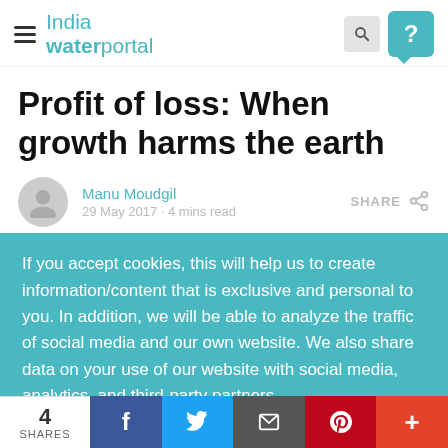India WaterPortal
Profit of loss: When growth harms the earth
Manu Moudgil
29 May 2017 · 4 mins read
If you accept cookies, this will help us to create information/content that is exclusive and personal to you. In addition, we will be able to analyze the traffic of social media and our own website. We also share data on your use of our website with social media, analytics, and third-party partners.
Accept  Deny